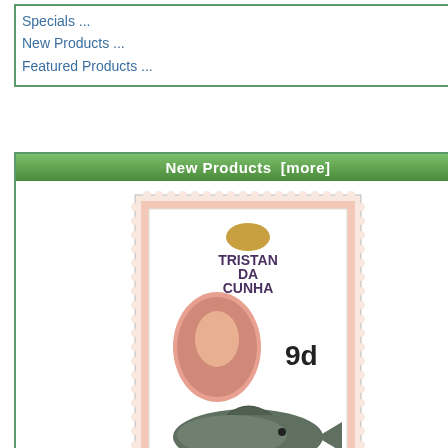Specials ...
New Products ...
Featured Products ...
New Products  [more]
[Figure (photo): Tristan da Cunha 1960 QEII Pictorial stamp, 9d denomination, pink and grey, showing Queen Elizabeth II portrait and a stumpnose fish (Dentex Rupestris)]
Tristan da Cunha 1960 QEII Pictorial Marine Life 9d MLH
$2.00
Sale: $1.50
Save: 25% off
[Figure (photo): Tristan da Cunha 1960 QEII Pictorial stamp, 5/- denomination, green, showing Queen Elizabeth II portrait and a shark (Glyphus Dealious)]